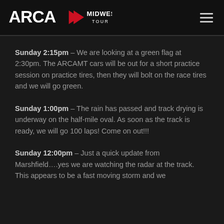ARCA Midwest Tour
Sunday 2:15pm – We are looking at a green flag at 2:30pm. The ARCAMT cars will be out for a short practice session on practice tires, then they will bolt on the race tires and we will go green.
Sunday 1:00pm – The rain has passed and track drying is underway on the half-mile oval. As soon as the track is ready, we will go 100 laps! Come on out!!!
Sunday 12:00pm – Just a quick update from Marshfield….yes we are watching the radar at the track. This appears to be a fast moving storm and we